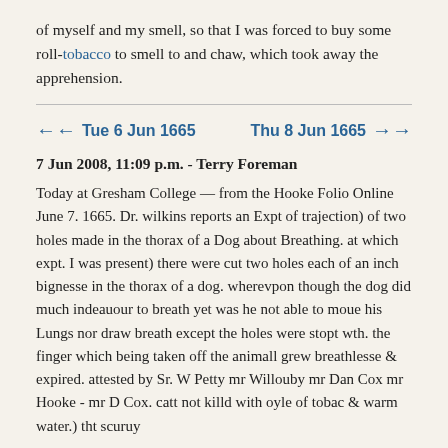of myself and my smell, so that I was forced to buy some roll-tobacco to smell to and chaw, which took away the apprehension.
← Tue 6 Jun 1665    Thu 8 Jun 1665 →
7 Jun 2008, 11:09 p.m. - Terry Foreman
Today at Gresham College — from the Hooke Folio Online June 7. 1665. Dr. wilkins reports an Expt of trajection) of two holes made in the thorax of a Dog about Breathing. at which expt. I was present) there were cut two holes each of an inch bignesse in the thorax of a dog. wherevpon though the dog did much indeauour to breath yet was he not able to moue his Lungs nor draw breath except the holes were stopt wth. the finger which being taken off the animall grew breathlesse & expired. attested by Sr. W Petty mr Willouby mr Dan Cox mr Hooke - mr D Cox. catt not killd with oyle of tobac & warm water.) tht scuruy